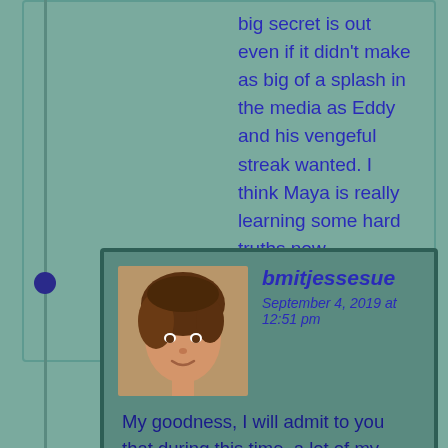big secret is out even if it didn't make as big of a splash in the media as Eddy and his vengeful streak wanted. I think Maya is really learning some hard truths now.
★ Like
Reply
bmitjessesue
September 4, 2019 at 12:51 pm
My goodness, I will admit to you that during this time, a lot of my story was being driven by poses I found. I had never used them before this story started and was so new to